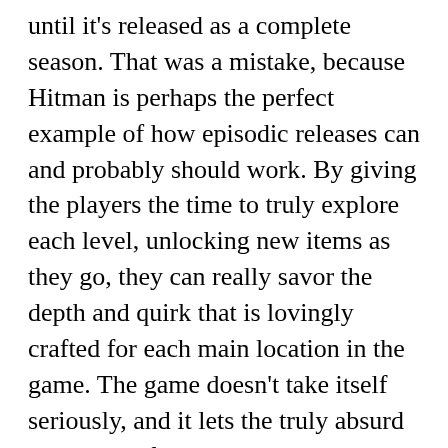until it's released as a complete season. That was a mistake, because Hitman is perhaps the perfect example of how episodic releases can and probably should work. By giving the players the time to truly explore each level, unlocking new items as they go, they can really savor the depth and quirk that is lovingly crafted for each main location in the game. The game doesn't take itself seriously, and it lets the truly absurd situations of mayhem develop organically. Ever wanted to walk the catwalk as a fashion model and then drop the stage itself on your target? Or kill a dictator by dropping a toilet on him? Or push a Yakuza lawyer off a cliff while disguised as a yoga